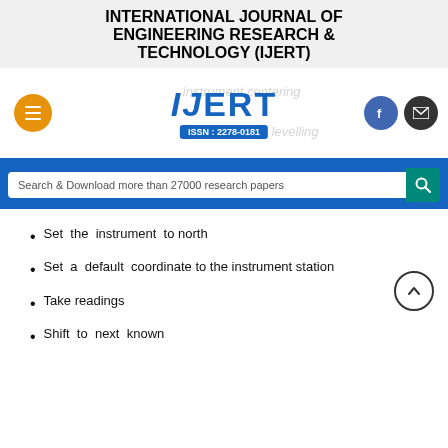INTERNATIONAL JOURNAL OF ENGINEERING RESEARCH & TECHNOLOGY (IJERT)
[Figure (logo): IJERT logo with ISSN: 2278-0181 badge, menu button, Facebook and email icons, faded text 'instrument centering' and 'instrument levelling']
Search & Download more than 27000 research papers
Set the instrument to north
Set a default coordinate to the instrument station
Take readings
Shift to next known